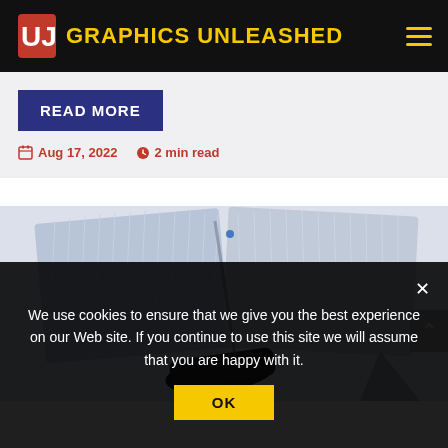GRAPHICS UNLEASHED
READ MORE
Aug 17, 2022  2 min read
[Figure (photo): A folding solar panel with a black power bank device in front, photographed from above at an angle against a light background.]
We use cookies to ensure that we give you the best experience on our Web site. If you continue to use this site we will assume that you are happy with it.
OK